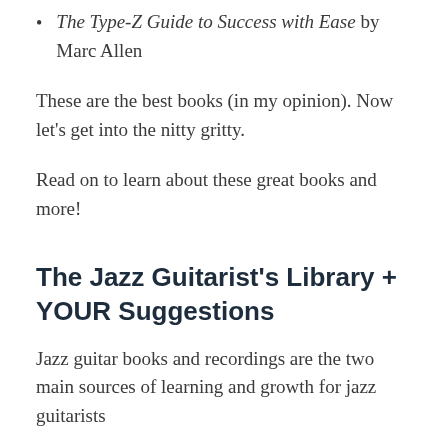The Type-Z Guide to Success with Ease by Marc Allen
These are the best books (in my opinion). Now let's get into the nitty gritty.
Read on to learn about these great books and more!
The Jazz Guitarist's Library + YOUR Suggestions
Jazz guitar books and recordings are the two main sources of learning and growth for jazz guitarists